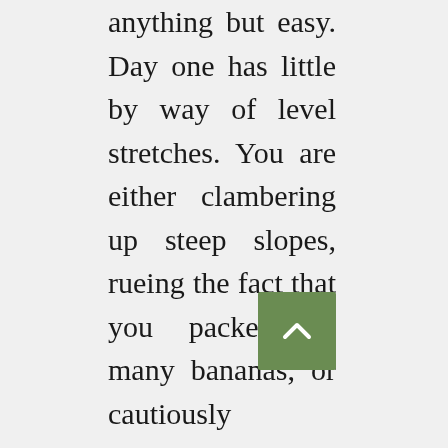anything but easy. Day one has little by way of level stretches. You are either clambering up steep slopes, rueing the fact that you packed so many bananas, or cautiously manoeuvring your way downhill over fallen logs and slippery rocks, thanking your lucky stars that you ignored those who scorned your walking stick.
Walking at the back, so as to admire the mesmerising forest without holding everyone up, we savoured every fern-filled gully and towering yellowwood tree. You'd be excused for expecting a jaguar to dart across the path, or perhaps imagining the ululating call of Tarzan swinging through the vines criss-crossing the canopy above. But all you hear when you stop and listen is the constant trickle of a nearby stream and the occasional squawk of a Knysna Turaco, or whistle of a Chorister Robin-Chat.